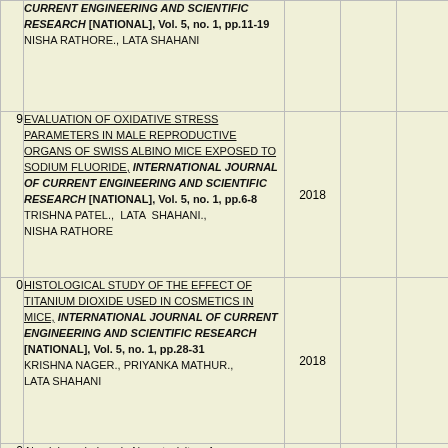| # | Publication | Year |  |  |
| --- | --- | --- | --- | --- |
|  | CURRENT ENGINEERING AND SCIENTIFIC RESEARCH [NATIONAL], Vol. 5, no. 1, pp.11-19 NISHA RATHORE., LATA SHAHANI |  |  |  |
| 9 | EVALUATION OF OXIDATIVE STRESS PARAMETERS IN MALE REPRODUCTIVE ORGANS OF SWISS ALBINO MICE EXPOSED TO SODIUM FLUORIDE, INTERNATIONAL JOURNAL OF CURRENT ENGINEERING AND SCIENTIFIC RESEARCH [NATIONAL], Vol. 5, no. 1, pp.6-8 TRISHNA PATEL., LATA SHAHANI., NISHA RATHORE | 2018 |  |  |
| 0 | HISTOLOGICAL STUDY OF THE EFFECT OF TITANIUM DIOXIDE USED IN COSMETICS IN MICE, INTERNATIONAL JOURNAL OF CURRENT ENGINEERING AND SCIENTIFIC RESEARCH [NATIONAL], Vol. 5, no. 1, pp.28-31 KRISHNA NAGER., PRIYANKA MATHUR., LATA SHAHANI | 2018 |  |  |
| 0 | Aluminium induced Neurotoxicity: A Review |  |  |  |